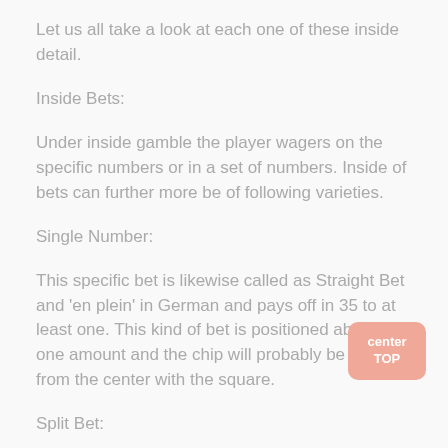Let us all take a look at each one of these inside detail.
Inside Bets:
Under inside gamble the player wagers on the specific numbers or in a set of numbers. Inside of bets can further more be of following varieties.
Single Number:
This specific bet is likewise called as Straight Bet and 'en plein' in German and pays off in 35 to at least one. This kind of bet is positioned about only one amount and the chip will probably be placed from the center with the square.
Split Bet: